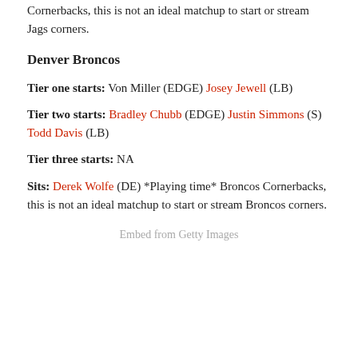Cornerbacks, this is not an ideal matchup to start or stream Jags corners.
Denver Broncos
Tier one starts: Von Miller (EDGE) Josey Jewell (LB)
Tier two starts: Bradley Chubb (EDGE) Justin Simmons (S) Todd Davis (LB)
Tier three starts: NA
Sits: Derek Wolfe (DE) *Playing time* Broncos Cornerbacks, this is not an ideal matchup to start or stream Broncos corners.
Embed from Getty Images